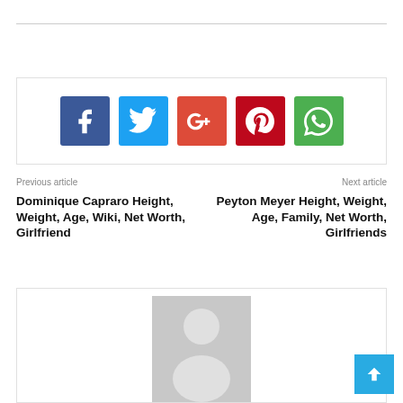[Figure (infographic): Social media share buttons: Facebook (blue), Twitter (light blue), Google+ (red-orange), Pinterest (dark red), WhatsApp (green)]
Previous article
Next article
Dominique Capraro Height, Weight, Age, Wiki, Net Worth, Girlfriend
Peyton Meyer Height, Weight, Age, Family, Net Worth, Girlfriends
[Figure (photo): Default avatar / placeholder profile image with grey background showing a silhouette of a person (head and shoulders)]